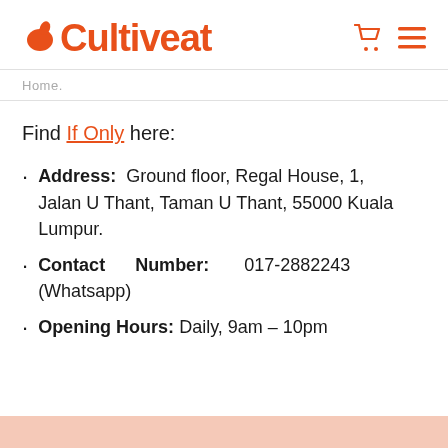Cultiveat
Home.
Find If Only here:
Address: Ground floor, Regal House, 1, Jalan U Thant, Taman U Thant, 55000 Kuala Lumpur.
Contact Number: 017-2882243 (Whatsapp)
Opening Hours: Daily, 9am – 10pm